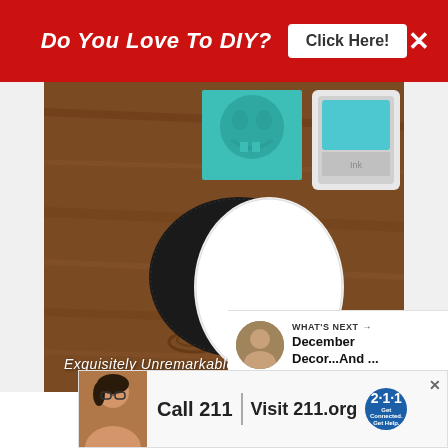[Figure (screenshot): Red promotional banner at top: 'Do You Love To DIY?' with 'Click Here!' button and X close button]
[Figure (photo): Photo of DIY craft supplies on a wooden table: black foam oval, white oval tile, teal jack-o-lantern stencil, and turquoise ink pad. Watermark 'Exquisitely Unremarkable' in bottom left. Pink heart icon in bottom right.]
[Figure (screenshot): Share button (circle with share icon) below the photo on the right side]
WHAT'S NEXT → December Decor...And ...
[Figure (screenshot): Advertisement banner at bottom: person on phone, 'Call 211 | Visit 211.org' with 2-1-1 badge logo]